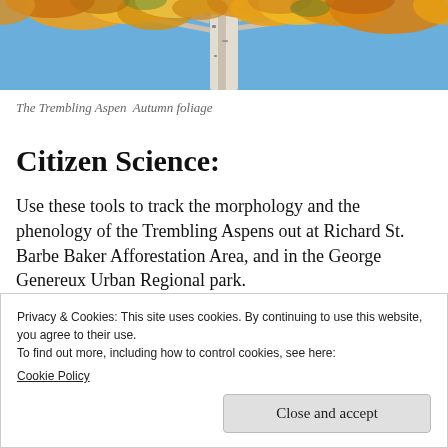[Figure (photo): Photo of a Trembling Aspen tree with yellow and orange autumn foliage against a blue sky, trunk visible in center]
The Trembling Aspen  Autumn foliage
Citizen Science:
Use these tools to track the morphology and the phenology of the Trembling Aspens out at Richard St. Barbe Baker Afforestation Area, and in the George Genereux Urban Regional park.
Privacy & Cookies: This site uses cookies. By continuing to use this website, you agree to their use.
To find out more, including how to control cookies, see here:
Cookie Policy
Close and accept